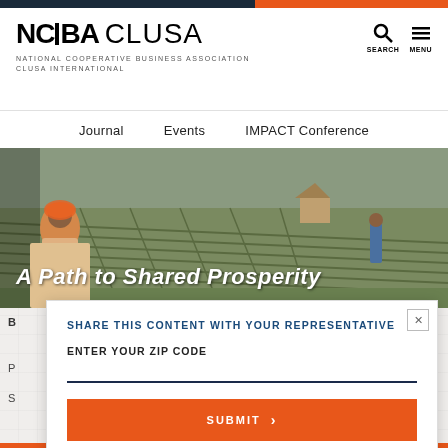NCBA CLUSA — NATIONAL COOPERATIVE BUSINESS ASSOCIATION CLUSA INTERNATIONAL
Journal    Events    IMPACT Conference
[Figure (photo): Agricultural field scene showing workers farming rows of crops, with a person in traditional orange/white clothing in the foreground]
A Path to Shared Prosperity
SHARE THIS CONTENT WITH YOUR REPRESENTATIVE
ENTER YOUR ZIP CODE
SUBMIT